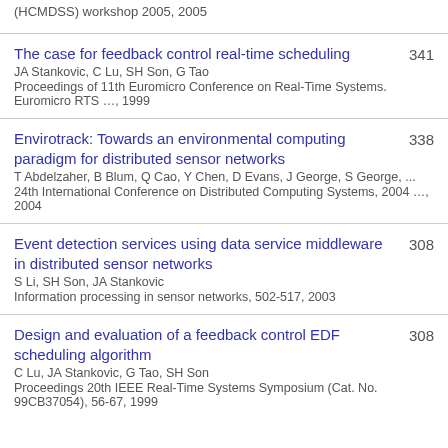(HCMDSS) workshop 2005, 2005
The case for feedback control real-time scheduling | 341 | JA Stankovic, C Lu, SH Son, G Tao | Proceedings of 11th Euromicro Conference on Real-Time Systems. Euromicro RTS …, 1999
Envirotrack: Towards an environmental computing paradigm for distributed sensor networks | 338 | T Abdelzaher, B Blum, Q Cao, Y Chen, D Evans, J George, S George, ... | 24th International Conference on Distributed Computing Systems, 2004 …, 2004
Event detection services using data service middleware in distributed sensor networks | 308 | S Li, SH Son, JA Stankovic | Information processing in sensor networks, 502-517, 2003
Design and evaluation of a feedback control EDF scheduling algorithm | 308 | C Lu, JA Stankovic, G Tao, SH Son | Proceedings 20th IEEE Real-Time Systems Symposium (Cat. No. 99CB37054), 56-67, 1999